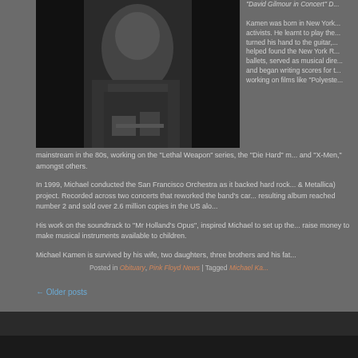[Figure (photo): Black and white photograph of a person, partially cropped]
David Gilmour in Concert D... Kamen was born in New York... activists. He learnt to play the... turned his hand to the guitar,... helped found the New York R... ballets, served as musical dire... and began writing scores for t... working on films like "Polyeste... mainstream in the 80s, working on the "Lethal Weapon" series, the "Die Hard" m... and "X-Men," amongst others.
In 1999, Michael conducted the San Francisco Orchestra as it backed hard rock... & Metallica) project. Recorded across two concerts that reworked the band's car... resulting album reached number 2 and sold over 2.6 million copies in the US alo...
His work on the soundtrack to "Mr Holland's Opus", inspired Michael to set up the... raise money to make musical instruments available to children.
Michael Kamen is survived by his wife, two daughters, three brothers and his fat...
Posted in Obituary, Pink Floyd News | Tagged Michael Ka...
← Older posts
The fans of Syd since 5/19/97: ©1997 -
Designed by Black D...